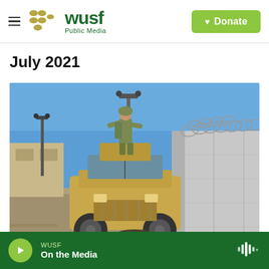WUSF Public Media — Donate
July 2021
[Figure (photo): Afghan soldier standing on top of a military Humvee vehicle near concrete blast walls topped with razor wire, at what appears to be a military base or compound. Clear blue sky in background, sandy desert terrain.]
WUSF On the Media